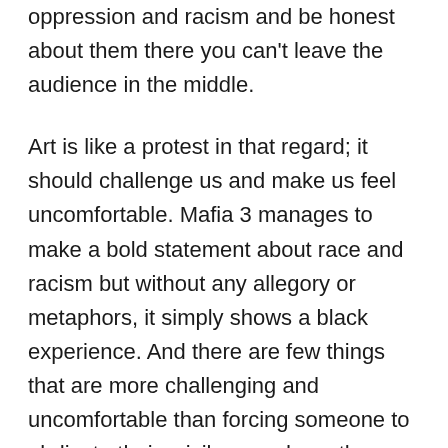oppression and racism and be honest about them there you can't leave the audience in the middle.
Art is like a protest in that regard; it should challenge us and make us feel uncomfortable. Mafia 3 manages to make a bold statement about race and racism but without any allegory or metaphors, it simply shows a black experience. And there are few things that are more challenging and uncomfortable than forcing someone to abdicate their privilege and see the world through the eyes of someone like me. Even if it is just a video